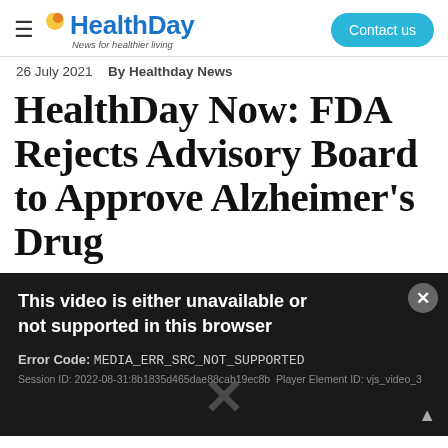HealthDay — News for healthier living | Contact us
26 July 2021   By Healthday News
HealthDay Now: FDA Rejects Advisory Board to Approve Alzheimer's Drug
[Figure (screenshot): Video player error screen with dark background showing: 'This video is either unavailable or not supported in this browser' and 'Error Code: MEDIA_ERR_SRC_NOT_SUPPORTED' and 'Session ID: 2022-08-31:8b1835d465dae88cab19ec8b Player Element ID: vjs_video_3']